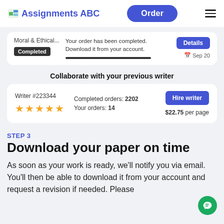Assignments ABC | Order
[Figure (screenshot): Order completion card showing 'Moral & Ethical...' order with Completed badge, message 'Your order has been completed. Download it from your account.', Details button, and Sep 20 date.]
Collaborate with your previous writer
[Figure (screenshot): Writer card for Writer #223344 with 4 gold stars, Completed orders: 2202, Your orders: 14, Hire writer button, $22.75 per page.]
STEP 3
Download your paper on time
As soon as your work is ready, we’ll notify you via email. You’ll then be able to download it from your account and request a revision if needed. Please